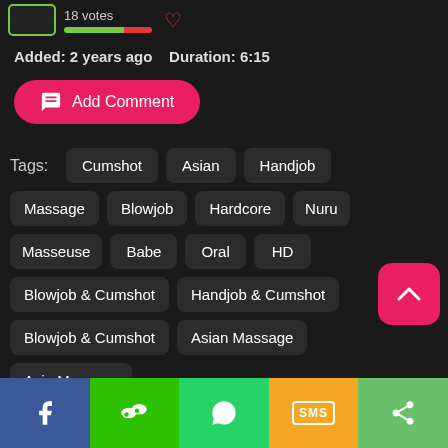18 votes
Added: 2 years ago    Duration: 6:15
Add Comment
Tags:  Cumshot  Asian  Handjob  Massage  Blowjob  Hardcore  Nuru  Masseuse  Babe  Oral  HD  Blowjob & Cumshot  Handjob & Cumshot  Blowjob & Cumshot  Asian Massage  Asia Massage
Facebook  WeChat  WhatsApp  SMS  Share